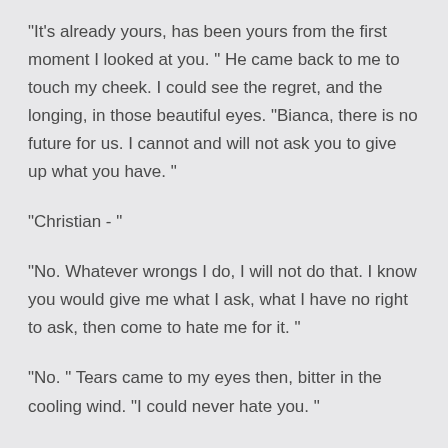"It's already yours, has been yours from the first moment I looked at you. " He came back to me to touch my cheek. I could see the regret, and the longing, in those beautiful eyes. "Bianca, there is no future for us. I cannot and will not ask you to give up what you have. "
"Christian - "
"No. Whatever wrongs I do, I will not do that. I know you would give me what I ask, what I have no right to ask, then come to hate me for it. "
"No. " Tears came to my eyes then, bitter in the cooling wind. "I could never hate you. "
"Then I would hate myself" He crushed my fingers against his